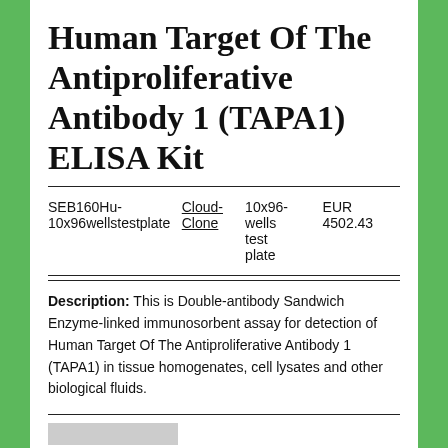Human Target Of The Antiproliferative Antibody 1 (TAPA1) ELISA Kit
|  |  |  |  |
| --- | --- | --- | --- |
| SEB160Hu-10x96wellstestplate | Cloud-Clone | 10x96-wells test plate | EUR 4502.43 |
Description: This is Double-antibody Sandwich Enzyme-linked immunosorbent assay for detection of Human Target Of The Antiproliferative Antibody 1 (TAPA1) in tissue homogenates, cell lysates and other biological fluids.